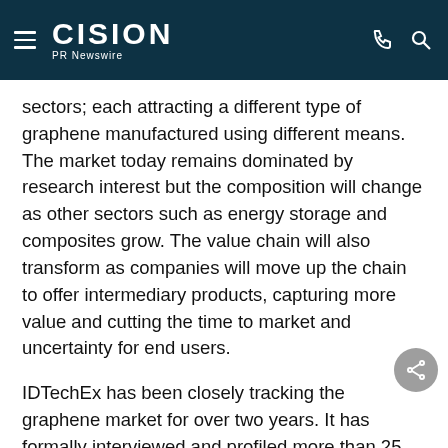CISION PR Newswire
sectors; each attracting a different type of graphene manufactured using different means. The market today remains dominated by research interest but the composition will change as other sectors such as energy storage and composites grow. The value chain will also transform as companies will move up the chain to offer intermediary products, capturing more value and cutting the time to market and uncertainty for end users.
IDTechEx has been closely tracking the graphene market for over two years. It has formally interviewed and profiled more than 25 key players and end us... At the same time, IDTechEx has organised three